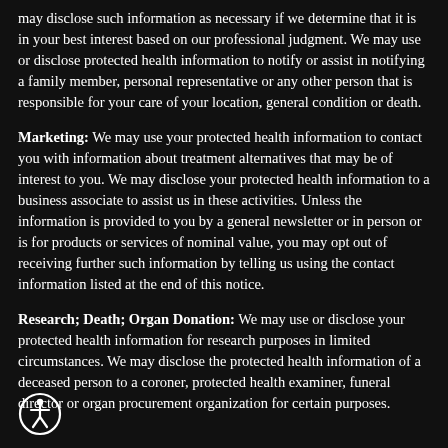may disclose such information as necessary if we determine that it is in your best interest based on our professional judgment. We may use or disclose protected health information to notify or assist in notifying a family member, personal representative or any other person that is responsible for your care of your location, general condition or death.
Marketing: We may use your protected health information to contact you with information about treatment alternatives that may be of interest to you. We may disclose your protected health information to a business associate to assist us in these activities. Unless the information is provided to you by a general newsletter or in person or is for products or services of nominal value, you may opt out of receiving further such information by telling us using the contact information listed at the end of this notice.
Research; Death; Organ Donation: We may use or disclose your protected health information for research purposes in limited circumstances. We may disclose the protected health information of a deceased person to a coroner, protected health examiner, funeral director or organ procurement organization for certain purposes.
[Figure (illustration): Accessibility icon — white circle outline with a stick figure person inside]